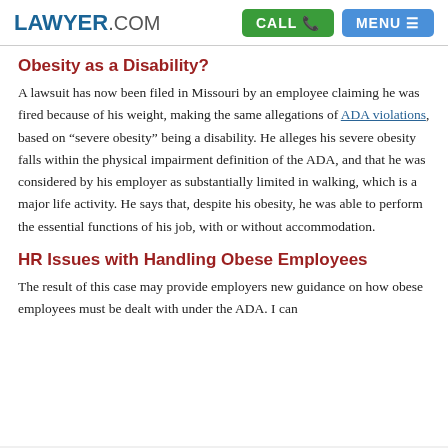LAWYER.COM | CALL | MENU
Obesity as a Disability?
A lawsuit has now been filed in Missouri by an employee claiming he was fired because of his weight, making the same allegations of ADA violations, based on “severe obesity” being a disability. He alleges his severe obesity falls within the physical impairment definition of the ADA, and that he was considered by his employer as substantially limited in walking, which is a major life activity. He says that, despite his obesity, he was able to perform the essential functions of his job, with or without accommodation.
HR Issues with Handling Obese Employees
The result of this case may provide employers new guidance on how obese employees must be dealt with under the ADA. I can